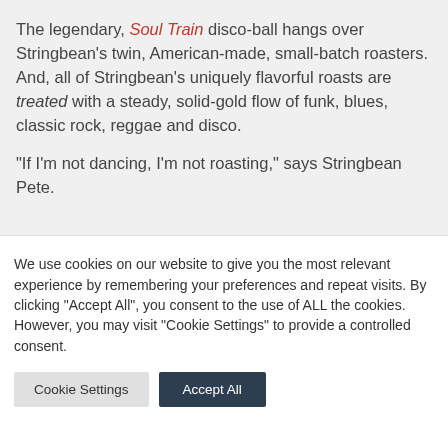The legendary, Soul Train disco-ball hangs over Stringbean's twin, American-made, small-batch roasters.  And, all of Stringbean's uniquely flavorful roasts are treated with a steady, solid-gold flow of funk, blues, classic rock, reggae and disco.
“If I’m not dancing, I’m not roasting,” says Stringbean Pete.
We use cookies on our website to give you the most relevant experience by remembering your preferences and repeat visits. By clicking “Accept All”, you consent to the use of ALL the cookies. However, you may visit "Cookie Settings" to provide a controlled consent.